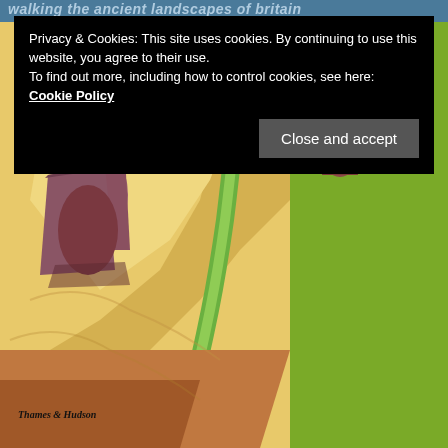walking the ancient landscapes of britain
[Figure (illustration): Illustrated book cover showing a stylized ancient landscape of Britain. Left portion shows sandy/yellow terrain with reddish-brown standing stones or rocky formations in the foreground, a green winding path or stream cutting through sandy hills. Right half shows a flat green field. Bottom left corner has 'Thames & Hudson' publisher logo.]
Privacy & Cookies: This site uses cookies. By continuing to use this website, you agree to their use.
To find out more, including how to control cookies, see here: Cookie Policy
Close and accept
Thames & Hudson